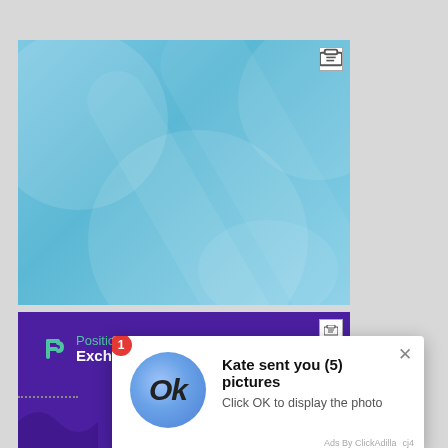[Figure (illustration): Light blue advertisement banner with subtle circular pattern overlays, small ad icon in top right corner]
[Figure (illustration): Purple advertisement banner for Position Exchange with logo and text, partially obscured by popup notification]
[Figure (screenshot): Browser notification popup: '1' badge, circular avatar with 'Ok' text, title 'Kate sent you (5) pictures', subtitle 'Click OK to display the photo', close X button, footer 'Ads By ClickAdilla cj4']